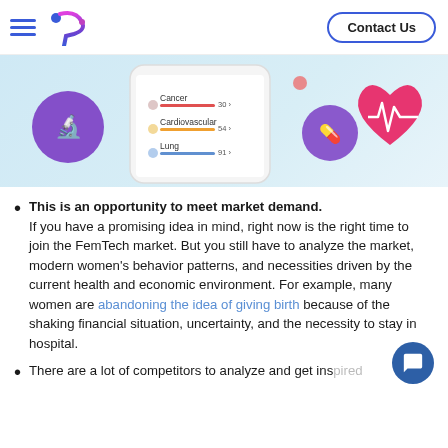Contact Us
[Figure (screenshot): Mobile app screenshot showing health data for Cancer, Cardiovascular, and Lung conditions, alongside a red heart with ECG line graphic and purple circular icons with microscope and pill symbols on a light blue background.]
This is an opportunity to meet market demand. If you have a promising idea in mind, right now is the right time to join the FemTech market. But you still have to analyze the market, modern women's behavior patterns, and necessities driven by the current health and economic environment. For example, many women are abandoning the idea of giving birth because of the shaking financial situation, uncertainty, and the necessity to stay in hospital.
There are a lot of competitors to analyze and get inspired by. We have mentioned the most prominent players of the...